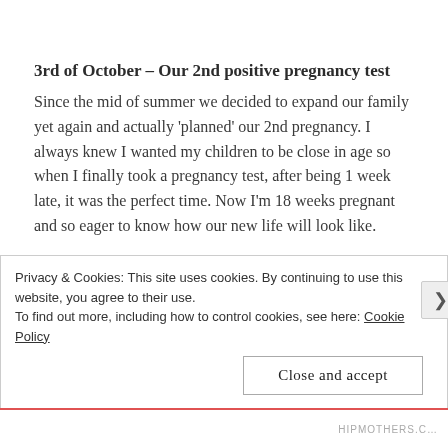3rd of October – Our 2nd positive pregnancy test
Since the mid of summer we decided to expand our family yet again and actually 'planned' our 2nd pregnancy. I always knew I wanted my children to be close in age so when I finally took a pregnancy test, after being 1 week late, it was the perfect time. Now I'm 18 weeks pregnant and so eager to know how our new life will look like.
Privacy & Cookies: This site uses cookies. By continuing to use this website, you agree to their use.
To find out more, including how to control cookies, see here: Cookie Policy